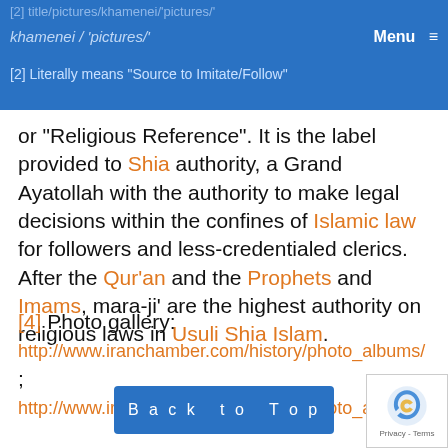[2] title/pictures/khamenei/'pictures/'
[2] Literally means 'Source to Imitate/Follow'
or "Religious Reference". It is the label provided to Shia authority, a Grand Ayatollah with the authority to make legal decisions within the confines of Islamic law for followers and less-credentialed clerics. After the Qur'an and the Prophets and Imams, mara-ji' are the highest authority on religious laws in Usuli Shia Islam.
[4] Photo gallery: http://www.iranchamber.com/history/photo_albums/ ; http://www.iranchamber.com/history/photo_albums/
[5] http://ira...ahazra
[6] Other...i refused